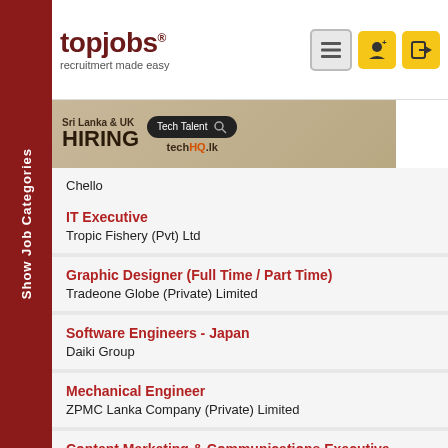[Figure (logo): topjobs logo with tagline 'recruitmert made easy']
[Figure (infographic): Banner ad: Sri Lanka & UK HIRING Tech Talent - techHQ.lk]
Chello
IT Executive
Tropic Fishery (Pvt) Ltd
Graphic Designer (Full Time / Part Time)
Tradeone Globe (Private) Limited
Software Engineers - Japan
Daiki Group
Mechanical Engineer
ZPMC Lanka Company (Private) Limited
Content Marketing & Communications Executive
MONDY
Consultancy - Software and Web App Development
SAFE Foundation
Show Job Categories